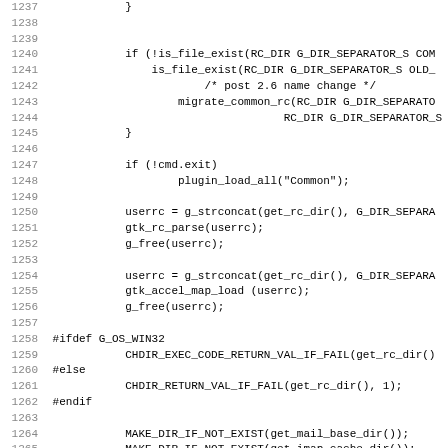[Figure (other): Source code listing lines 1237–1268+, C language, showing file existence checks, plugin loading, resource path setup, conditional compilation for Windows/else, and directory creation macros.]